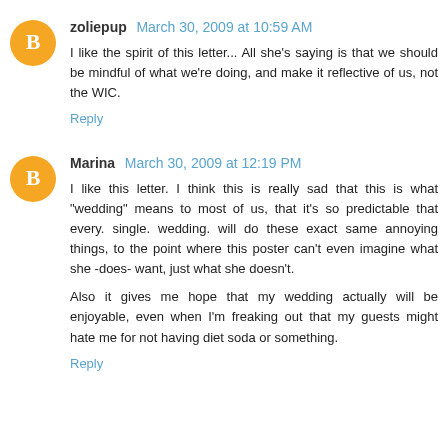zoliepup March 30, 2009 at 10:59 AM
I like the spirit of this letter... All she's saying is that we should be mindful of what we're doing, and make it reflective of us, not the WIC.
Reply
Marina March 30, 2009 at 12:19 PM
I like this letter. I think this is really sad that this is what "wedding" means to most of us, that it's so predictable that every. single. wedding. will do these exact same annoying things, to the point where this poster can't even imagine what she -does- want, just what she doesn't.
Also it gives me hope that my wedding actually will be enjoyable, even when I'm freaking out that my guests might hate me for not having diet soda or something.
Reply